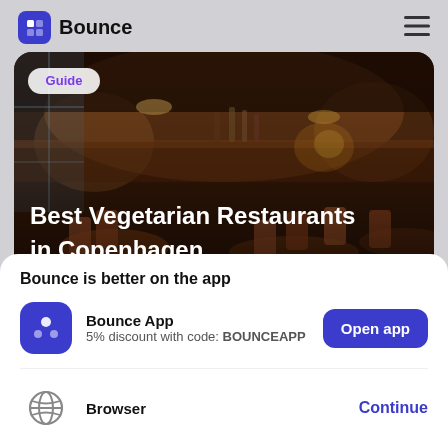Bounce
[Figure (photo): Hero image of a restaurant interior with warm lighting, tables and chairs, bar area in background. Overlay text: Best Vegetarian Restaurants in Copenhagen. Badge: Guide.]
Bounce is better on the app
Bounce App
5% discount with code: BOUNCEAPP
Open app
Browser
Continue